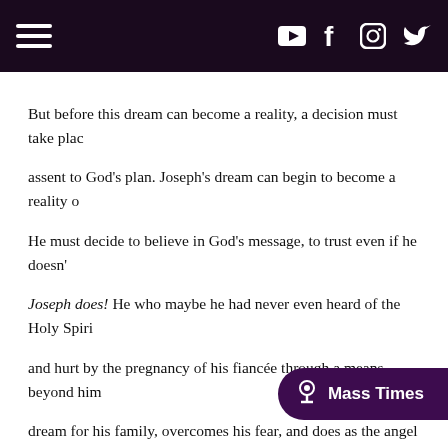Navigation header with hamburger menu and social icons (YouTube, Facebook, Instagram, Twitter)
But before this dream can become a reality, a decision must take place, assent to God's plan. Joseph's dream can begin to become a reality only if He must decide to believe in God's message, to trust even if he doesn't. Joseph does! He who maybe he had never even heard of the Holy Spirit, and hurt by the pregnancy of his fiancée through a means beyond him, dream for his family, overcomes his fear, and does as the angel of the takes Mary into his home as his wife. And with Joseph's decision to follow God's dream for his family, Josep gift that one can receive: God-with-us, Emmanuel, Jesus Christ in his family. It was not easy, it was chaotic and they were poor, but there w and joy. God's dream became a reality for the Holy Family one day at a and loving action at a time. Day after day Jesus Christ, Emmanuel, Go them, and blessed them, showing Joseph how to love, how to make own life, in his own family. What about us and dre merciful, more joy-filled family life? Are we awa rea holiness, our thriving and our mutual love?